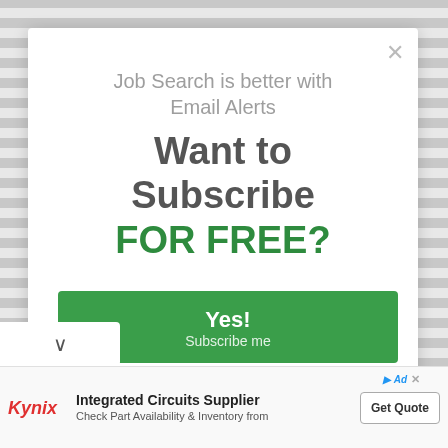Job Search is better with Email Alerts
Want to Subscribe FOR FREE?
Yes!
Subscribe me
No, thanks
I am not interested
Integrated Circuits Supplier
Check Part Availability & Inventory from
Get Quote